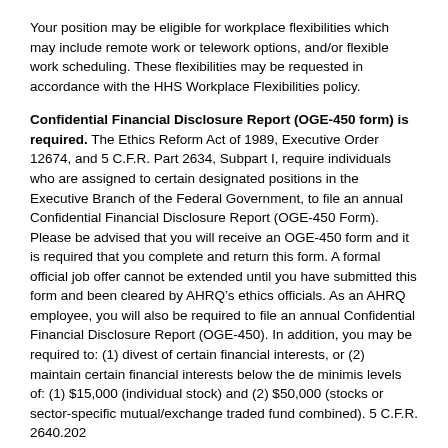Your position may be eligible for workplace flexibilities which may include remote work or telework options, and/or flexible work scheduling. These flexibilities may be requested in accordance with the HHS Workplace Flexibilities policy.
Confidential Financial Disclosure Report (OGE-450 form) is required. The Ethics Reform Act of 1989, Executive Order 12674, and 5 C.F.R. Part 2634, Subpart I, require individuals who are assigned to certain designated positions in the Executive Branch of the Federal Government, to file an annual Confidential Financial Disclosure Report (OGE-450 Form). Please be advised that you will receive an OGE-450 form and it is required that you complete and return this form. A formal official job offer cannot be extended until you have submitted this form and been cleared by AHRQ’s ethics officials. As an AHRQ employee, you will also be required to file an annual Confidential Financial Disclosure Report (OGE-450). In addition, you may be required to: (1) divest of certain financial interests, or (2) maintain certain financial interests below the de minimis levels of: (1) $15,000 (individual stock) and (2) $50,000 (stocks or sector-specific mutual/exchange traded fund combined). 5 C.F.R. 2640.202
Beginning January 1, 2010, agencies must seek prior approval from OPM before they can appoint a current or recent political appointee to a competitive or non-political excepted service position at any level under the